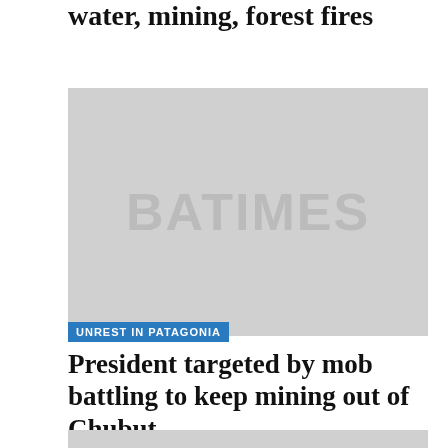water, mining, forest fires
[Figure (photo): Placeholder image with BATIMES watermark text]
UNREST IN PATAGONIA
President targeted by mob battling to keep mining out of Chubut
[Figure (photo): Partial placeholder image at bottom of page]